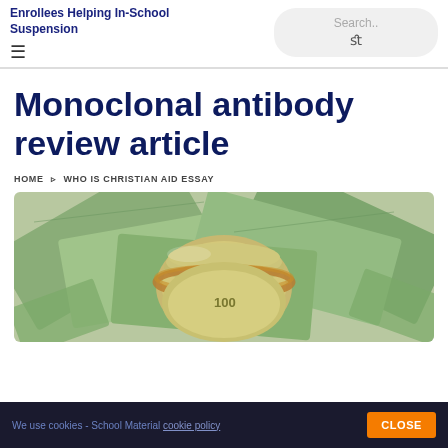Enrollees Helping In-School Suspension
Monoclonal antibody review article
HOME ▸ WHO IS CHRISTIAN AID ESSAY
[Figure (photo): A rolled bundle of US $100 dollar bills secured with a rubber band, surrounded by more spread-out $100 bills]
We use cookies - School Material cookie policy  CLOSE